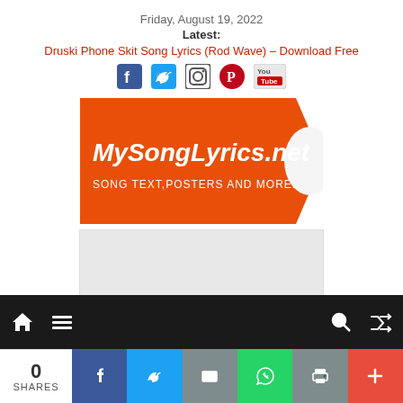Friday, August 19, 2022
Latest:
Druski Phone Skit Song Lyrics (Rod Wave) – Download Free
[Figure (other): Social media icons: Facebook, Twitter, Instagram, Pinterest, YouTube]
[Figure (logo): MySongLyrics.net logo — orange banner with white text reading MySongLyrics.net and SONG TEXT, POSTERS AND MORE...]
[Figure (other): Gray advertisement placeholder rectangle]
Navigation bar with home, menu, search, and shuffle icons on dark background
0 SHARES share bar with Facebook, Twitter, Email, WhatsApp, Print, Plus buttons